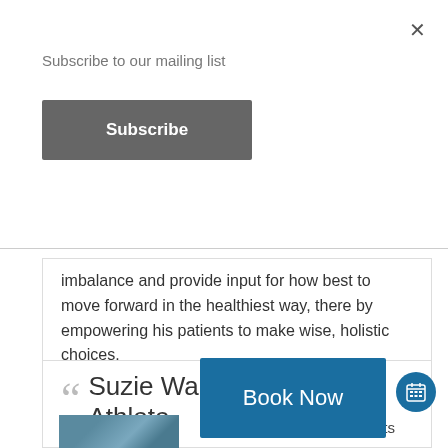Subscribe to our mailing list
Subscribe
imbalance and provide input for how best to move forward in the healthiest way, there by empowering his patients to make wise, holistic choices.
Christina Johnson: Ballet Master
Suzie Walt... Active Athlete
Book Now